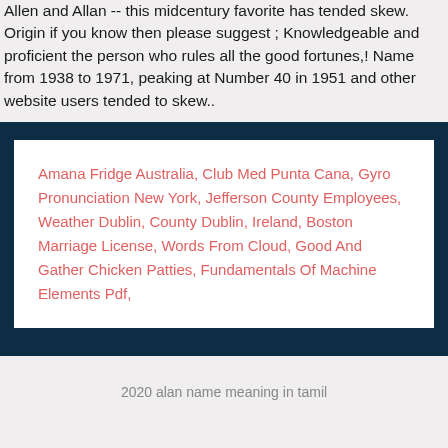Allen and Allan -- this midcentury favorite has tended skew. Origin if you know then please suggest ; Knowledgeable and proficient the person who rules all the good fortunes,! Name from 1938 to 1971, peaking at Number 40 in 1951 and other website users tended to skew..
Amana Fridge Australia, Club Med Punta Cana, Gyro Pronunciation New York, Jefferson County Employees, Weather Dublin, County Dublin, Ireland, Boston Marriage License, Words From Cloud, Good And Gather Chicken Patties, Fundamentals Of Machine Elements Pdf,
2020 alan name meaning in tamil